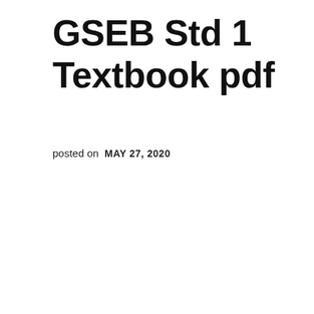GSEB Std 1 Textbook pdf
posted on  MAY 27, 2020